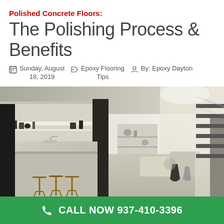Polished Concrete Floors: The Polishing Process & Benefits
Sunday, August 18, 2019 | Epoxy Flooring Tips | By: Epoxy Dayton
[Figure (photo): Interior photo of a modern open-plan space with polished concrete floors, a marble kitchen island with wooden bar stools, dark columns, built-in shelving, and a staircase with floating steps on the right.]
CALL NOW 937-410-3396